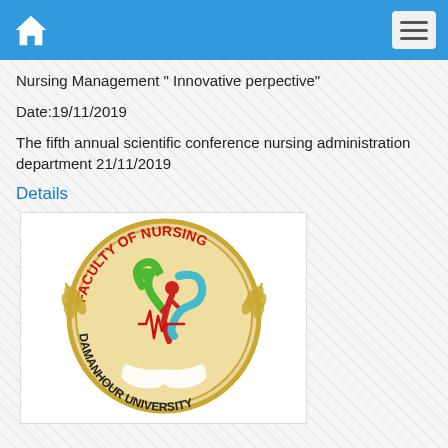Home | Menu
Nursing Management " Innovative perpective"
Date:19/11/2019
The fifth annual scientific conference nursing administration department 21/11/2019
Details
[Figure (logo): Faculty of Nursing Damanhour University circular logo with heart, human figure, and wheat motifs]